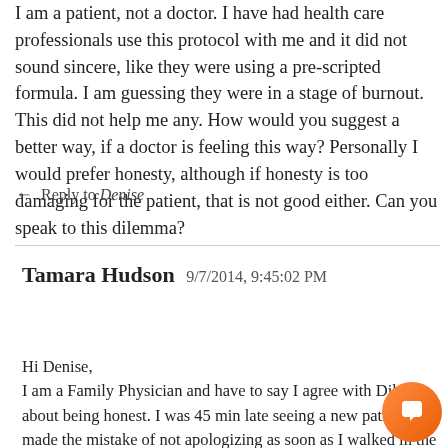I am a patient, not a doctor. I have had health care professionals use this protocol with me and it did not sound sincere, like they were using a pre-scripted formula. I am guessing they were in a stage of burnout. This did not help me any. How would you suggest a better way, if a doctor is feeling this way? Personally I would prefer honesty, although if honesty is too damaging for the patient, that is not good either. Can you speak to this dilemma?
↤ Reply to Denise
Tamara Hudson 9/7/2014, 9:45:02 PM
Hi Denise,
I am a Family Physician and have to say I agree with Dike about being honest. I was 45 min late seeing a new patient and made the mistake of not apologizing as soon as I walked in the room. I cheerily greeted her and she was